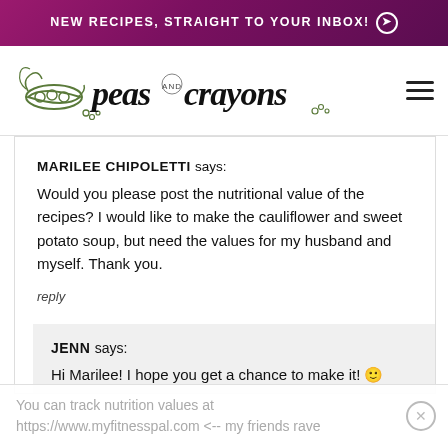NEW RECIPES, STRAIGHT TO YOUR INBOX! ➔
[Figure (logo): Peas and Crayons blog logo with illustrated pea pod and script/handwritten font text]
MARILEE CHIPOLETTI says:
Would you please post the nutritional value of the recipes? I would like to make the cauliflower and sweet potato soup, but need the values for my husband and myself. Thank you.
reply
JENN says:
Hi Marilee! I hope you get a chance to make it! 🙂
You can track nutrition values at https://www.myfitnesspal.com <-- my friends rave